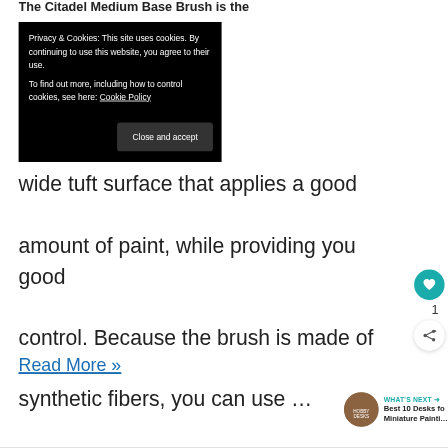The Citadel Medium Base Brush is the
[Figure (screenshot): Cookie consent banner with black background. Text: 'Privacy & Cookies: This site uses cookies. By continuing to use this website, you agree to their use. To find out more, including how to control cookies, see here: Cookie Policy'. Dark gray 'Close and accept' button at bottom right.]
wide tuft surface that applies a good amount of paint, while providing you good control. Because the brush is made of synthetic fibers, you can use …
Read More »
[Figure (infographic): What's Next panel with circular image thumbnail and text: 'WHAT'S NEXT → Best 10 Desks for Miniature Painting']